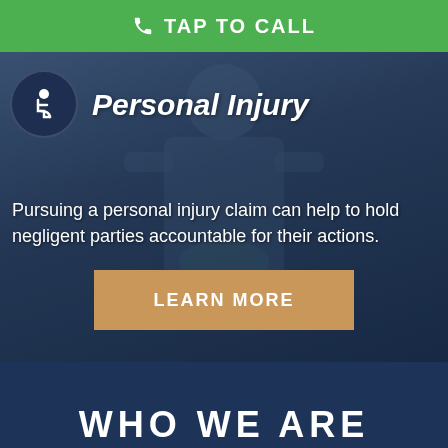TAP TO CALL
Personal Injury
Pursuing a personal injury claim can help to hold negligent parties accountable for their actions.
LEARN MORE
WHO WE ARE